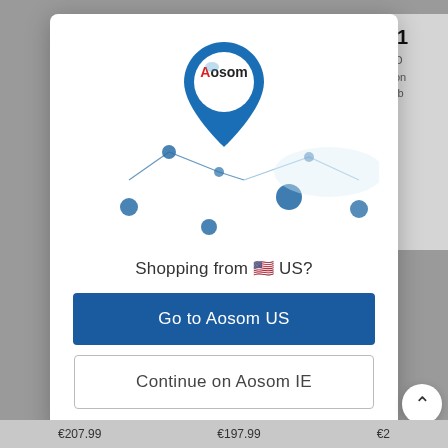[Figure (screenshot): Aosom website modal popup showing location pin with Aosom logo, map lines and dots illustration, asking 'Shopping from US?' with two buttons: 'Go to Aosom US' (blue filled) and 'Continue on Aosom IE' (outlined)]
Shopping from 🇺🇸 US?
Go to Aosom US
Continue on Aosom IE